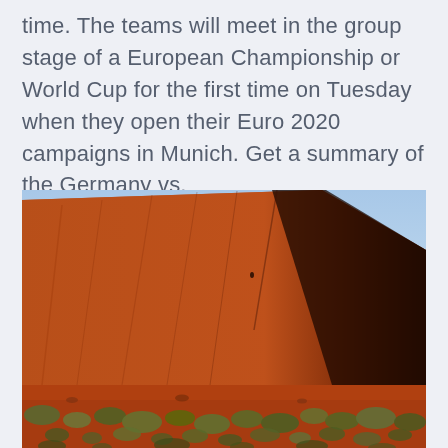time. The teams will meet in the group stage of a European Championship or World Cup for the first time on Tuesday when they open their Euro 2020 campaigns in Munich. Get a summary of the Germany vs.
[Figure (photo): Close-up photograph of a large red sandstone rock formation (resembling Uluru/Ayers Rock in Australia) with a steep diagonal face casting a deep shadow on the right side, under a clear blue sky, with sparse desert scrubland and red soil in the foreground.]